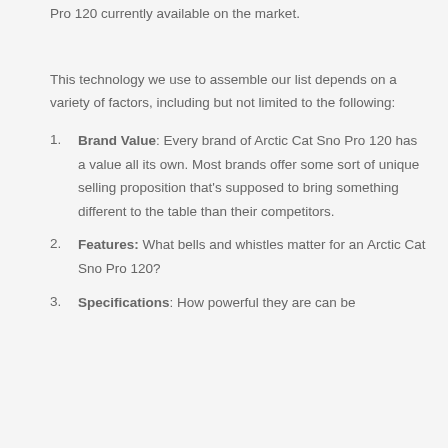Pro 120 currently available on the market.
This technology we use to assemble our list depends on a variety of factors, including but not limited to the following:
Brand Value: Every brand of Arctic Cat Sno Pro 120 has a value all its own. Most brands offer some sort of unique selling proposition that's supposed to bring something different to the table than their competitors.
Features: What bells and whistles matter for an Arctic Cat Sno Pro 120?
Specifications: How powerful they are can be